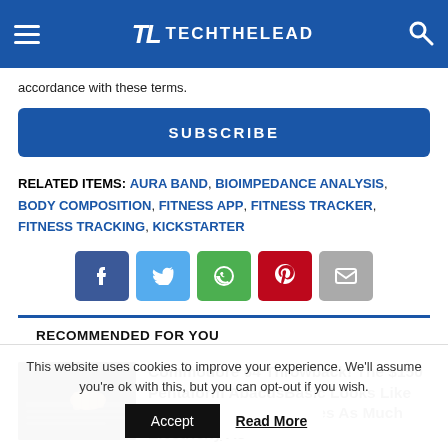TL TECHTHELEAD
accordance with these terms.
SUBSCRIBE
RELATED ITEMS: AURA BAND, BIOIMPEDANCE ANALYSIS, BODY COMPOSITION, FITNESS APP, FITNESS TRACKER, FITNESS TRACKING, KICKSTARTER
[Figure (infographic): Social share buttons: Facebook (blue), Twitter (light blue), WhatsApp (green), Pinterest (red), Email (gray)]
RECOMMENDED FOR YOU
[Figure (photo): Dark photo of hands on a keyboard, Commodore 64 style]
Commodore 64 Throwback! The $150 Pentaform AbacusBasic Looks Like Your Childhood PC. Uses As Much Electricity As
This website uses cookies to improve your experience. We'll assume you're ok with this, but you can opt-out if you wish.
Accept  Read More